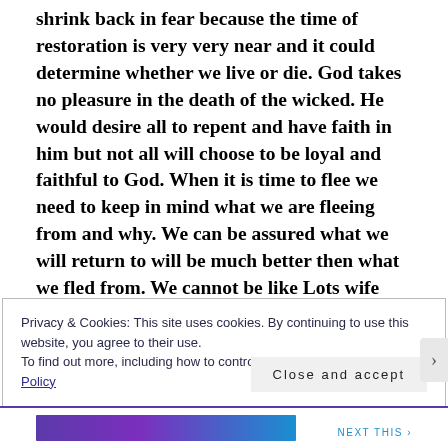shrink back in fear because the time of restoration is very very near and it could determine whether we live or die. God takes no pleasure in the death of the wicked. He would desire all to repent and have faith in him but not all will choose to be loyal and faithful to God. When it is time to flee we need to keep in mind what we are fleeing from and why. We can be assured what we will return to will be much better then what we fled from. We cannot be like Lots wife who hesitated and looked back and was turned to a pillar of salt.
Privacy & Cookies: This site uses cookies. By continuing to use this website, you agree to their use.
To find out more, including how to control cookies, see here: Cookie Policy
Close and accept